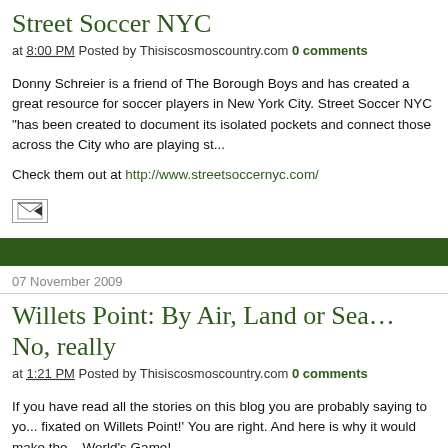Street Soccer NYC
at 8:00 PM Posted by Thisiscosmoscountry.com 0 comments
Donny Schreier is a friend of The Borough Boys and has created a great resource for soccer players in New York City. Street Soccer NYC "has been created to document its isolated pockets and connect those across the City who are playing st...
Check them out at http://www.streetsoccernyc.com/
07 November 2009
Willets Point: By Air, Land or Sea… No, really
at 1:21 PM Posted by Thisiscosmoscountry.com 0 comments
If you have read all the stories on this blog you are probably saying to yo... fixated on Willets Point!' You are right. And here is why it would make the... World's Game!